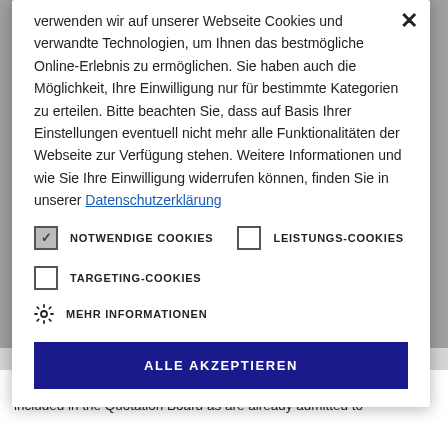verwenden wir auf unserer Webseite Cookies und verwandte Technologien, um Ihnen das bestmögliche Online-Erlebnis zu ermöglichen. Sie haben auch die Möglichkeit, Ihre Einwilligung nur für bestimmte Kategorien zu erteilen. Bitte beachten Sie, dass auf Basis Ihrer Einstellungen eventuell nicht mehr alle Funktionalitäten der Webseite zur Verfügung stehen. Weitere Informationen und wie Sie Ihre Einwilligung widerrufen können, finden Sie in unserer Datenschutzerklärung
NOTWENDIGE COOKIES [checked]   LEISTUNGS-COOKIES [unchecked]
TARGETING-COOKIES [unchecked]
MEHR INFORMATIONEN
ALLE AKZEPTIEREN
Frankfurt Stock Exchange nor included in trading in the same Regulated Market. In addition to bonds and funds, only shares are included in the Quotation Board as are already admitted to